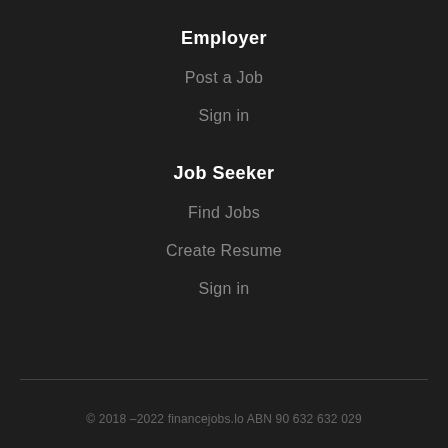Employer
Post a Job
Sign in
Job Seeker
Find Jobs
Create Resume
Sign in
© 2018 –2022 financejobs.lo ABN 90 632 632 029